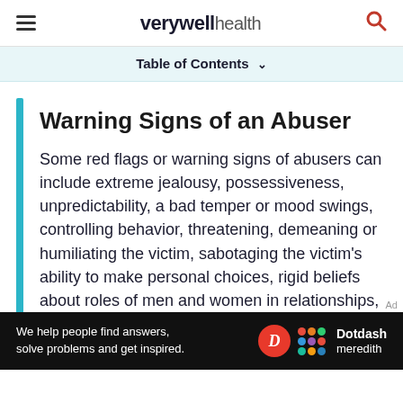verywell health
Table of Contents
Warning Signs of an Abuser
Some red flags or warning signs of abusers can include extreme jealousy, possessiveness, unpredictability, a bad temper or mood swings, controlling behavior, threatening, demeaning or humiliating the victim, sabotaging the victim's ability to make personal choices, rigid beliefs about roles of men and women in relationships, or cruelty to animals. [2]
[Figure (screenshot): Dotdash Meredith advertisement banner: 'We help people find answers, solve problems and get inspired.' with Dotdash Meredith logo.]